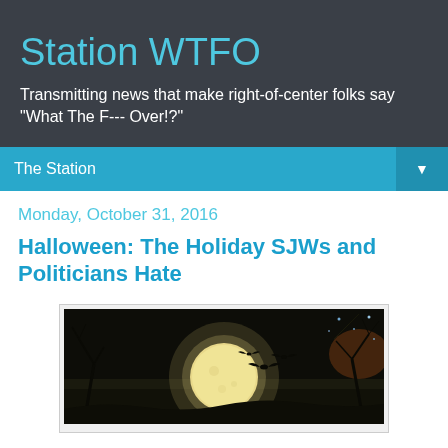Station WTFO
Transmitting news that make right-of-center folks say "What The F--- Over!?"
The Station
Monday, October 31, 2016
Halloween: The Holiday SJWs and Politicians Hate
[Figure (photo): A Halloween-themed image showing a large full moon with bats silhouetted against it, bare tree branches, and a dark night sky with some orange atmospheric glow]